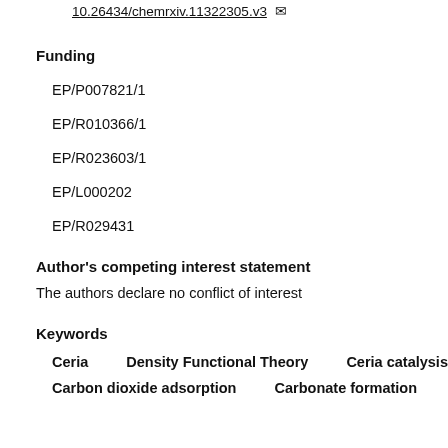10.26434/chemrxiv.11322305.v3
Funding
EP/P007821/1
EP/R010366/1
EP/R023603/1
EP/L000202
EP/R029431
Author's competing interest statement
The authors declare no conflict of interest
Keywords
Ceria
Density Functional Theory
Ceria catalysis
Carbon dioxide adsorption
Carbonate formation